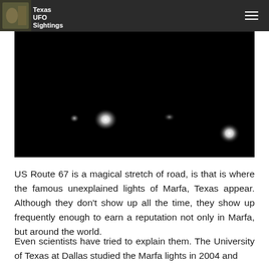Texas UFO Sightings
[Figure (photo): Night sky photograph showing several glowing white lights of varying sizes against a completely dark black background, resembling the Marfa lights phenomenon along US Route 67 in Texas.]
US Route 67 is a magical stretch of road, is that is where the famous unexplained lights of Marfa, Texas appear. Although they don't show up all the time, they show up frequently enough to earn a reputation not only in Marfa, but around the world.
Even scientists have tried to explain them. The University of Texas at Dallas studied the Marfa lights in 2004 and